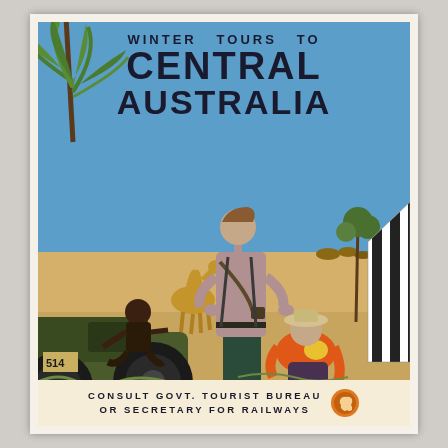[Figure (illustration): Vintage Australian travel poster. Title reads 'Winter Tours to Central Australia'. Scene shows two tourists with a car in the Australian outback desert landscape with camels, an indigenous person, palm trees, and striped tent. Bottom text: 'Consult Govt. Tourist Bureau or Secretary for Railways'. Artist signature: Tromp.]